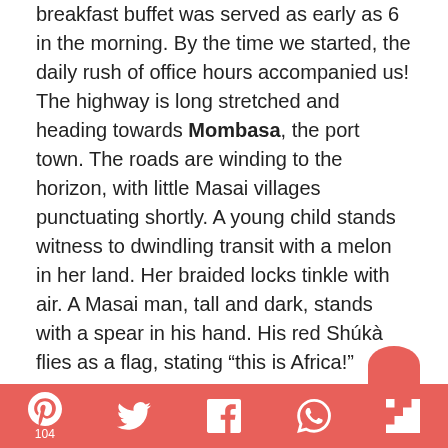breakfast buffet was served as early as 6 in the morning. By the time we started, the daily rush of office hours accompanied us! The highway is long stretched and heading towards Mombasa, the port town. The roads are winding to the horizon, with little Masai villages punctuating shortly. A young child stands witness to dwindling transit with a melon in her land. Her braided locks tinkle with air. A Masai man, tall and dark, stands with a spear in his hand. His red Shúkà flies as a flag, stating “this is Africa!”
Three hours of road dust comes to an end as we stopped at AA lodge for lunch. A few Impalas joined
Social share bar with Pinterest (104), Twitter, Facebook, WhatsApp, Flipboard icons